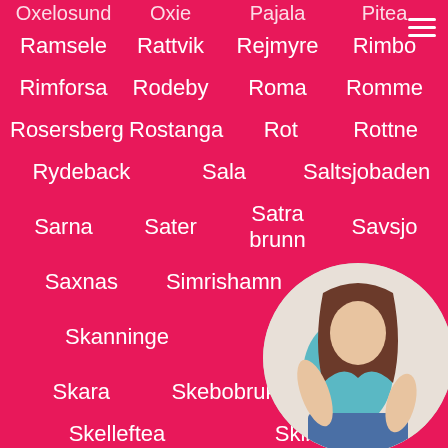Oxelosund   Oxie   Pajala   Pitea
Ramsele   Rattvik   Rejmyre   Rimbo
Rimforsa   Rodeby   Roma   Romme
Rosersberg   Rostanga   Rot   Rottne
Rydeback   Sala   Saltsjobaden
Sarna   Sater   Satra brunn   Savsjo
Saxnas   Simrishamn   Sjotorp
Skanninge   Skanor med Falsterbo
Skara   Skebobruk   Skovde
Skelleftea   Skillingaryd
[Figure (photo): Circular photo of a woman in teal/blue outfit, positioned at bottom right]